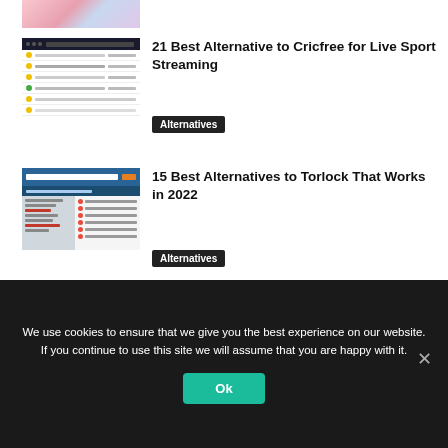[Figure (screenshot): Partial top image of anime/illustration visible at very top of page]
[Figure (screenshot): Thumbnail screenshot of Cricfree website with dark header and list of links]
21 Best Alternative to Cricfree for Live Sport Streaming
Alternatives
[Figure (screenshot): Thumbnail screenshot of Torlock website with orange search button and blue header]
15 Best Alternatives to Torlock That Works in 2022
Alternatives
We use cookies to ensure that we give you the best experience on our website. If you continue to use this site we will assume that you are happy with it.
Ok